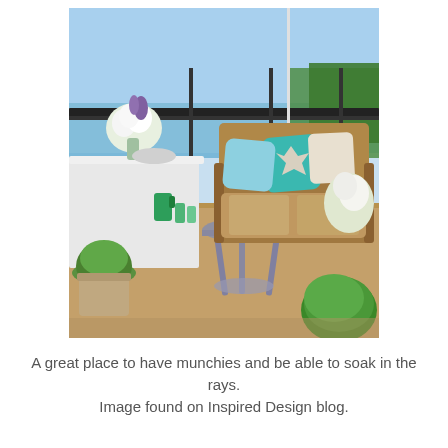[Figure (photo): Outdoor terrace/balcony scene with a wicker sofa loaded with colorful cushions (teal, light blue, white), a small round grey side table with green glass pitcher and glasses, a white tablecloth-covered table with white flowers in a vase, potted boxwood shrubs, and a view of a lake and green trees under a blue sky.]
A great place to have munchies and be able to soak in the rays.
Image found on Inspired Design blog.